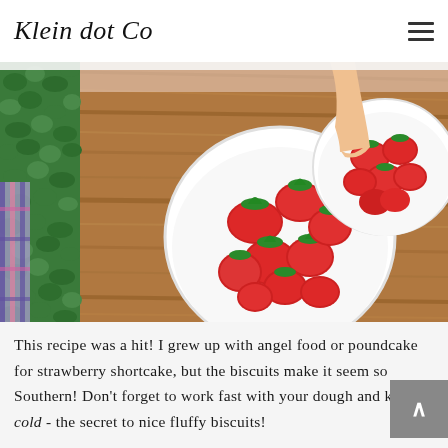Klein dot Co
[Figure (photo): Overhead view of strawberries in white bowls on a wooden table, with a child's hand reaching in. Left side shows green plants/clover and a decorative item. Warm wood grain visible.]
This recipe was a hit! I grew up with angel food or poundcake for strawberry shortcake, but the biscuits make it seem so Southern! Don't forget to work fast with your dough and keep it cold - the secret to nice fluffy biscuits!